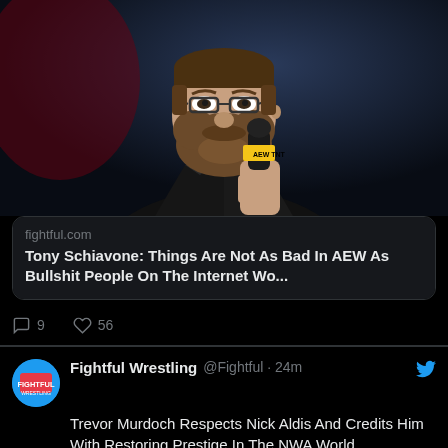[Figure (photo): Man with glasses and beard holding AEW TNT microphone, wearing black suit]
fightful.com
Tony Schiavone: Things Are Not As Bad In AEW As Bullshit People On The Internet Wo...
9 comments, 56 likes
Fightful Wrestling @Fightful · 24m
Trevor Murdoch Respects Nick Aldis And Credits Him With Restoring Prestige In The NWA World Championship dlvr.it/SX8kYj
[Figure (photo): Partial view of a person, bottom preview image]